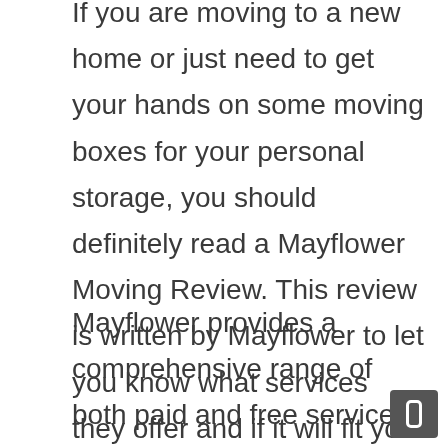If you are moving to a new home or just need to get your hands on some moving boxes for your personal storage, you should definitely read a Mayflower Moving Review. This review is written by Mayflower to let you know what services they offer and if it will fit your needs perfectly.
Mayflower provides a comprehensive range of both paid and free services to help you get the moving experience of a lifetime. In order to list some notable standouts, though